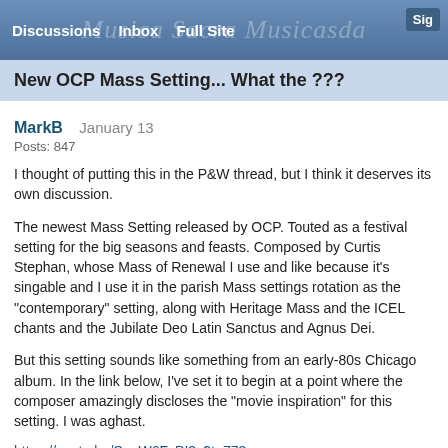Discussions  Inbox  Full Site  Sig
New OCP Mass Setting... What the ???
MarkB  January 13
Posts: 847
I thought of putting this in the P&W thread, but I think it deserves its own discussion.
The newest Mass Setting released by OCP. Touted as a festival setting for the big seasons and feasts. Composed by Curtis Stephan, whose Mass of Renewal I use and like because it's singable and I use it in the parish Mass settings rotation as the "contemporary" setting, along with Heritage Mass and the ICEL chants and the Jubilate Deo Latin Sanctus and Agnus Dei.
But this setting sounds like something from an early-80s Chicago album. In the link below, I've set it to begin at a point where the composer amazingly discloses the "movie inspiration" for this setting. I was aghast.
https://youtu.be/SouW6FvPI3c?t=773
Go to time stamp 3:12 to hear the Glory to God with the Chicago-style 80s brass in all its glory.